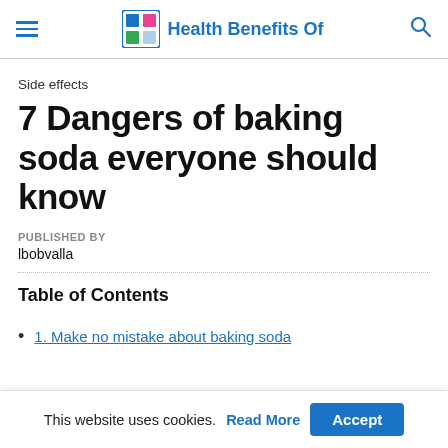Health Benefits Of
Side effects
7 Dangers of baking soda everyone should know
PUBLISHED BY
lbobvalla
Table of Contents
1. Make no mistake about baking soda
This website uses cookies. Read More Accept